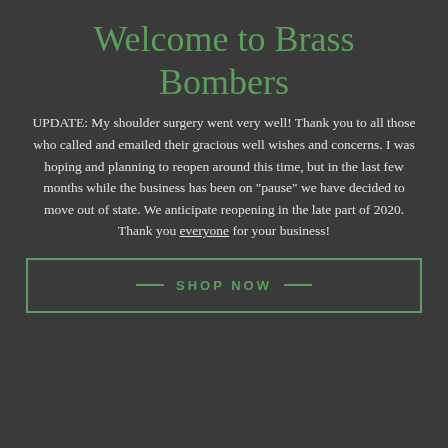Welcome to Brass Bombers
UPDATE: My shoulder surgery went very well! Thank you to all those who called and emailed their gracious well wishes and concerns. I was hoping and planning to reopen around this time, but in the last few months while the business has been on "pause" we have decided to move out of state. We anticipate reopening in the late part of 2020. Thank you everyone for your business!
— SHOP NOW —